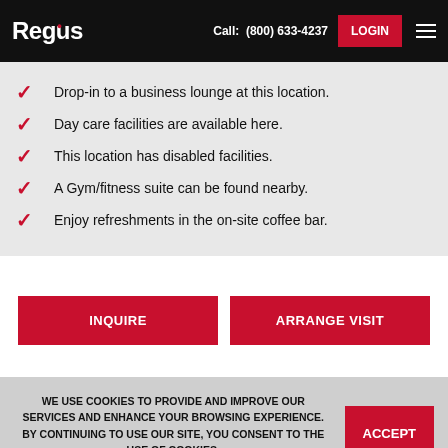Regus — Call: (800) 633-4237 LOGIN
Drop-in to a business lounge at this location.
Day care facilities are available here.
This location has disabled facilities.
A Gym/fitness suite can be found nearby.
Enjoy refreshments in the on-site coffee bar.
INQUIRE
ARRANGE VISIT
WE USE COOKIES TO PROVIDE AND IMPROVE OUR SERVICES AND ENHANCE YOUR BROWSING EXPERIENCE. BY CONTINUING TO USE OUR SITE, YOU CONSENT TO THE USE OF COOKIES. LEARN MORE HERE.